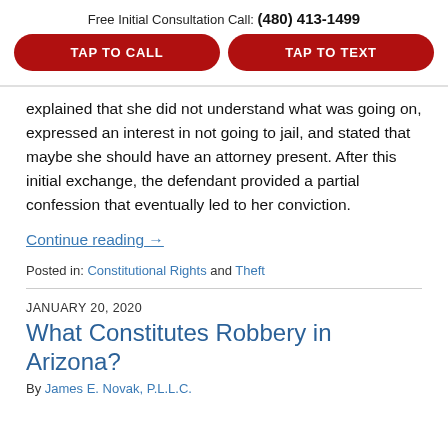Free Initial Consultation Call: (480) 413-1499
TAP TO CALL
TAP TO TEXT
explained that she did not understand what was going on, expressed an interest in not going to jail, and stated that maybe she should have an attorney present. After this initial exchange, the defendant provided a partial confession that eventually led to her conviction.
Continue reading →
Posted in: Constitutional Rights and Theft
JANUARY 20, 2020
What Constitutes Robbery in Arizona?
By James E. Novak, P.L.L.C.